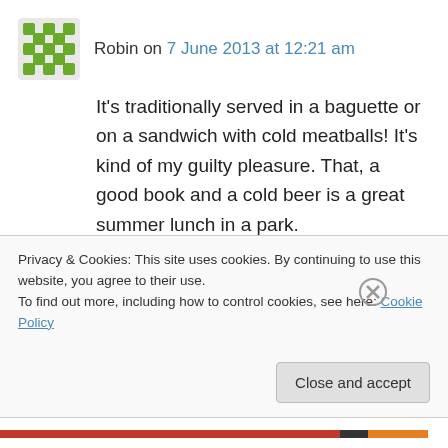Robin on 7 June 2013 at 12:21 am
It's traditionally served in a baguette or on a sandwich with cold meatballs! It's kind of my guilty pleasure. That, a good book and a cold beer is a great summer lunch in a park.
Just butter, beet root sallad and cold halved meatballs on some sort of bread. More or less every blue collar-café, traditional diner and most grocery stores got them.
Privacy & Cookies: This site uses cookies. By continuing to use this website, you agree to their use.
To find out more, including how to control cookies, see here: Cookie Policy